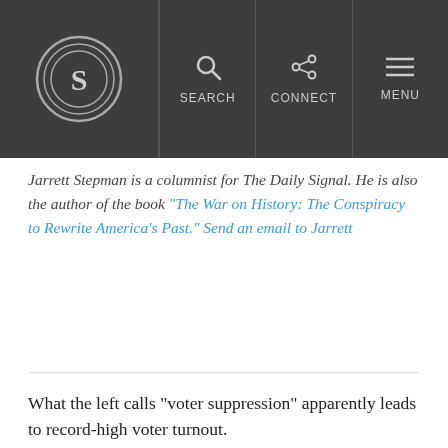S [logo] | SEARCH | CONNECT | MENU
Jarrett Stepman is a columnist for The Daily Signal. He is also the author of the book "The War on History: The Conspiracy to Rewrite America's Past." Send an email to Jarrett
What the left calls “voter suppression” apparently leads to record-high voter turnout.
According to Georgia Secretary of State Brad Raffensperger, as of May 20, 857,401 Georgians had voted during the state’s three-week early voting